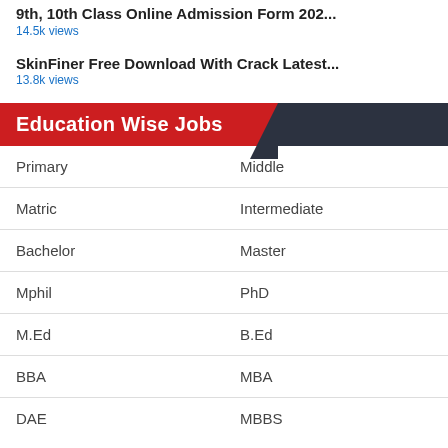9th, 10th Class Online Admission Form 202...
14.5k views
SkinFiner Free Download With Crack Latest...
13.8k views
Education Wise Jobs
| Col1 | Col2 |
| --- | --- |
| Primary | Middle |
| Matric | Intermediate |
| Bachelor | Master |
| Mphil | PhD |
| M.Ed | B.Ed |
| BBA | MBA |
| DAE | MBBS |